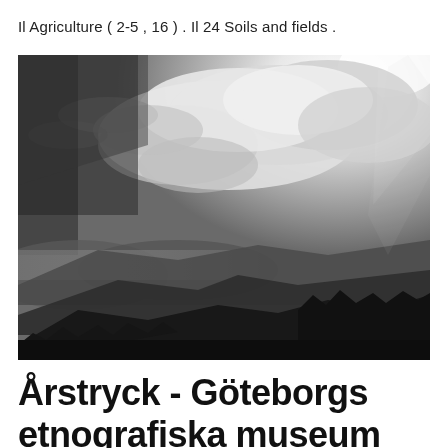Il Agriculture ( 2-5 , 16 ) . Il 24 Soils and fields .
[Figure (photo): Black and white landscape photograph showing dramatic clouds in a bright sky above mountain ridges with forested slopes in the foreground.]
Årstryck - Göteborgs etnografiska museum